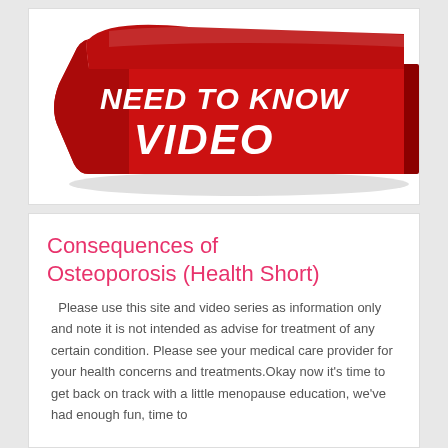[Figure (illustration): Red ribbon/banner graphic with white bold italic text reading 'NEED TO KNOW VIDEO' on a dark red scroll/ribbon shape, with a light pink/pale section to the right]
Consequences of Osteoporosis (Health Short)
Please use this site and video series as information only and note it is not intended as advise for treatment of any certain condition. Please see your medical care provider for your health concerns and treatments.Okay now it's time to get back on track with a little menopause education, we've had enough fun, time to